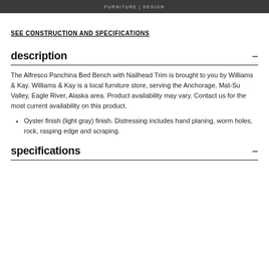FURNITURE | DESIGN
SEE CONSTRUCTION AND SPECIFICATIONS
description
The Alfresco Panchina Bed Bench with Nailhead Trim is brought to you by Williams & Kay. Williams & Kay is a local furniture store, serving the Anchorage, Mat-Su Valley, Eagle River, Alaska area. Product availability may vary. Contact us for the most current availability on this product.
Oyster finish (light gray) finish. Distressing includes hand planing, worm holes, rock, rasping edge and scraping.
specifications